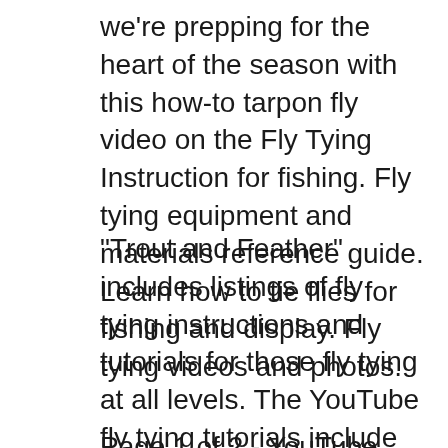we're prepping for the heart of the season with this how-to tarpon fly video on the Fly Tying Instruction for fishing. Fly tying equipment and materials reference guide. Learn how to tie flies for fishing and display. Fly tying videos and photos.
"Trout and Feather" includes listings of fly tying instructions and tutorials for those fly tying at all levels. The YouTube fly tying tutorials include patterns and Every other week we will bring you a new fly tying video showcasing some of the biggest names tying killer fly patterns.
Page 1 of 2 - YouTube video links -